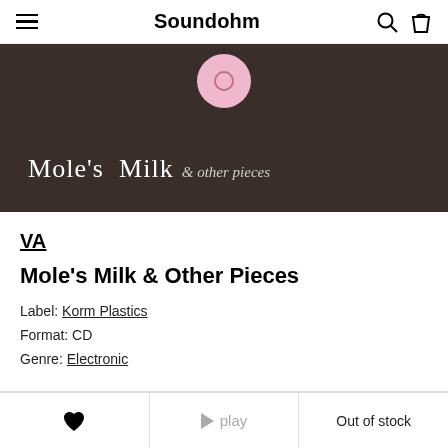Soundohm
[Figure (photo): Album cover for Mole's Milk & other pieces on dark brown background with pink circle at top and white serif text]
VA
Mole's Milk & Other Pieces
Label: Korm Plastics
Format: CD
Genre: Electronic